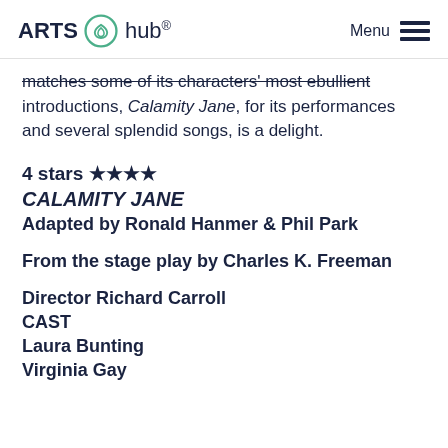ARTS hub® Menu
matches some of its characters' most ebullient introductions, Calamity Jane, for its performances and several splendid songs, is a delight.
4 stars ★★★★
CALAMITY JANE
Adapted by Ronald Hanmer & Phil Park
From the stage play by Charles K. Freeman
Director Richard Carroll
CAST
Laura Bunting
Virginia Gay